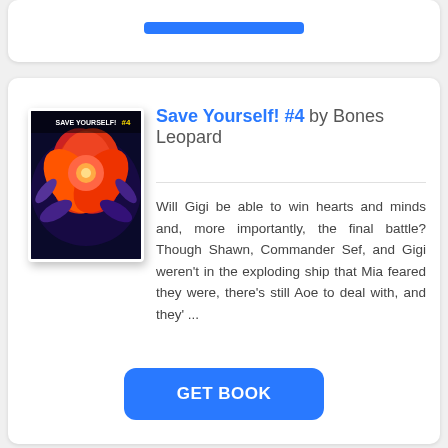[Figure (other): Top card with a blue button partially visible at bottom]
[Figure (illustration): Book cover for Save Yourself! #4 showing colorful floral/abstract art on dark background]
Save Yourself! #4 by Bones Leopard
Will Gigi be able to win hearts and minds and, more importantly, the final battle? Though Shawn, Commander Sef, and Gigi weren't in the exploding ship that Mia feared they were, there's still Aoe to deal with, and they' ...
[Figure (other): GET BOOK button in blue]